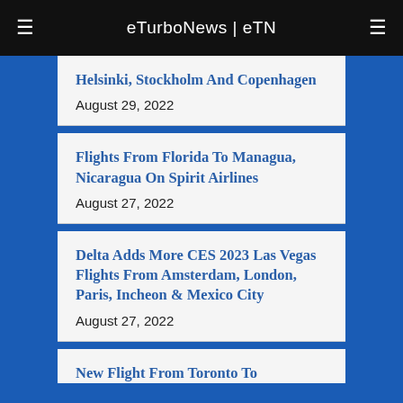eTurboNews | eTN
Helsinki, Stockholm And Copenhagen
August 29, 2022
Flights From Florida To Managua, Nicaragua On Spirit Airlines
August 27, 2022
Delta Adds More CES 2023 Las Vegas Flights From Amsterdam, London, Paris, Incheon & Mexico City
August 27, 2022
New Flight From Toronto To